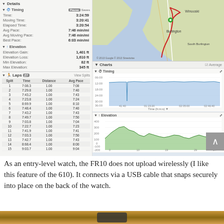[Figure (screenshot): Garmin Connect activity details screenshot showing left panel with Details (Timing: Time 3:24:59, Moving Time 3:20:41, Elapsed Time 3:20:54, Avg Pace 7:46 min/mi, Avg Moving Pace 7:46 min/mi, Best Pace 6:03 min/mi; Elevation: Elevation Gain 1,401ft, Elevation Loss 1,610ft, Min Elevation 82ft, Max Elevation 345ft) and Laps table with 15 rows (splits 1-15 with time, distance 1.00, avg pace). Right panel shows map of Burlington VT area with route traced, and Charts section with Timing chart (pace over time area chart) and Elevation chart (elevation profile area chart).]
As an entry-level watch, the FR10 does not upload wirelessly (I like this feature of the 610). It connects via a USB cable that snaps securely into place on the back of the watch.
[Figure (photo): Bottom portion of a photo showing what appears to be a yellow/orange device or object on a brown/tan surface]